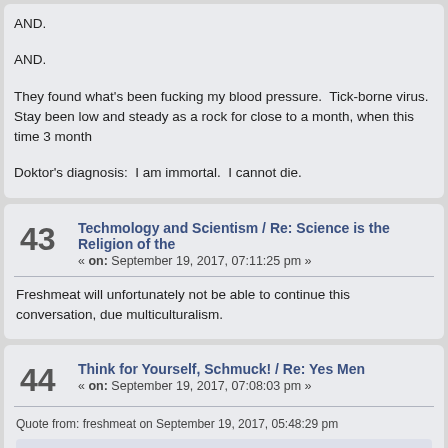AND.

AND.

They found what's been fucking my blood pressure.  Tick-borne virus.  Stay been low and steady as a rock for close to a month, when this time 3 month

Doktor's diagnosis:  I am immortal.  I cannot die.
43  Techmology and Scientism / Re: Science is the Religion of the
« on: September 19, 2017, 07:11:25 pm »
Freshmeat will unfortunately not be able to continue this conversation, due multiculturalism.
44  Think for Yourself, Schmuck! / Re: Yes Men
« on: September 19, 2017, 07:08:03 pm »
Quote from: freshmeat on September 19, 2017, 05:48:29 pm
Quote from: Fork on September 19, 2017, 07:05:07 am
Quote from: Bu☆ns on September 19, 2017, 02:03:34 am